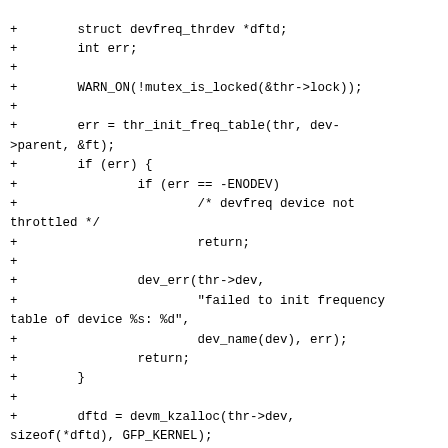+        struct devfreq_thrdev *dftd;
+        int err;
+
+        WARN_ON(!mutex_is_locked(&thr->lock));
+
+        err = thr_init_freq_table(thr, dev->parent, &ft);
+        if (err) {
+                if (err == -ENODEV)
+                        /* devfreq device not throttled */
+                        return;
+
+                dev_err(thr->dev,
+                        "failed to init frequency table of device %s: %d",
+                        dev_name(dev), err);
+                return;
+        }
+
+        dftd = devm_kzalloc(thr->dev, sizeof(*dftd), GFP_KERNEL);
+        if (!dftd) {
+                dev_err(thr->dev, "%s: out of memory\n", __func__);
+                return;
+        }
+
+        dftd->thr = thr;
+        dftd->devfreq = container_of(dev, struct